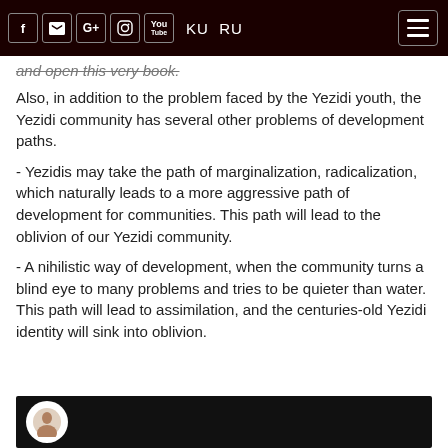Social icons: f, Twitter, G+, Instagram, YouTube | KU RU | Menu
and open this very book.
Also, in addition to the problem faced by the Yezidi youth, the Yezidi community has several other problems of development paths.
- Yezidis may take the path of marginalization, radicalization, which naturally leads to a more aggressive path of development for communities. This path will lead to the oblivion of our Yezidi community.
- A nihilistic way of development, when the community turns a blind eye to many problems and tries to be quieter than water. This path will lead to assimilation, and the centuries-old Yezidi identity will sink into oblivion.
[Figure (photo): Video thumbnail with dark background and a circular avatar/logo on the left]